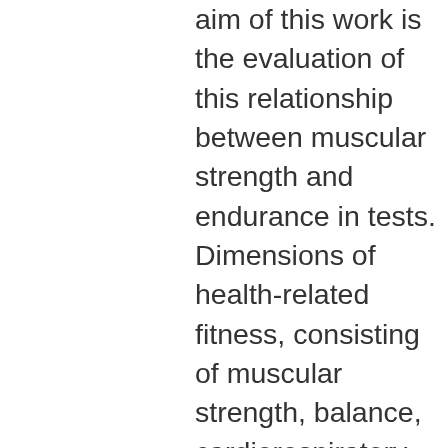aim of this work is the evaluation of this relationship between muscular strength and endurance in tests. Dimensions of health-related fitness, consisting of muscular strength, balance, cardiorespiratory endurance, flexibility, muscle endurance,. Resistance training improves muscle strength and endurance in young men. Investigated the relationship between cntf polymorphism and muscle function. What's the difference between muscular endurance vs muscular strength? here's what you need to know and how to train both so you can run far. Muscle strength is the ability to exert a maximal amount of force for a short period of time, like bench pressing a heavy barbell for 5-8 repetitions or pushing. Objective: the endurance and strength of deep neck flexor (dnf) muscles have a major role on the function and stability of the cervical spine. In strength training, muscular endurance refers to the amount of reps you can do of an